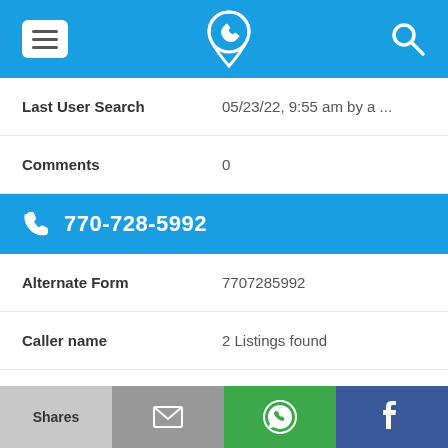Navigation bar with menu, phone/location icon, search icon
Last User Search   05/23/22, 9:55 am by a ...
Comments   0
770-728-5992
Alternate Form   7707285992
Caller name   2 Listings found
Last User Search   01/14/21, 1:59 pm by a ...
Comments   0
Shares | (email) | (WhatsApp) | (Facebook)